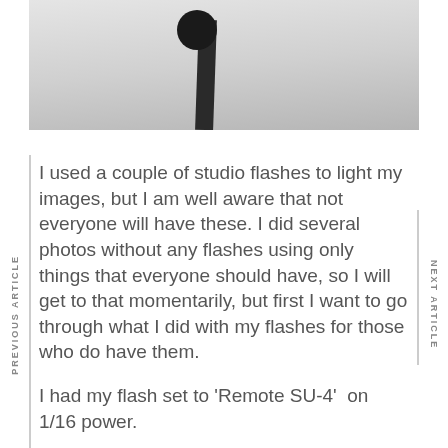[Figure (photo): Photo of ceiling and camera tripod taken from below, showing a garage or room ceiling with a dark tripod/camera setup visible against a light ceiling background.]
I used a couple of studio flashes to light my images, but I am well aware that not everyone will have these. I did several photos without any flashes using only things that everyone should have, so I will get to that momentarily, but first I want to go through what I did with my flashes for those who do have them.
I had my flash set to 'Remote SU-4'  on 1/16 power.
I don't really have any camera or light settings that I'll default to, so I usually just start with